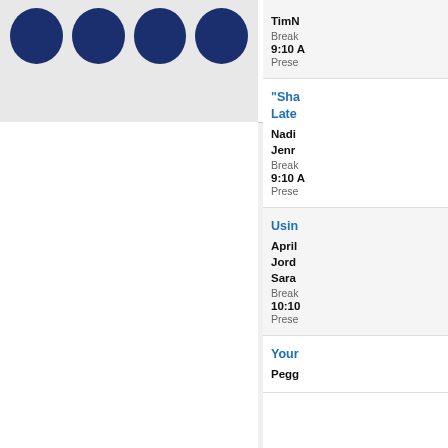[Figure (illustration): Four dark navy blue circular avatar/profile icon buttons in a row on a light gray background, partially cropped at top]
TimN
Break
9:10 A
Prese
"Sha Late
Nadi Jenr
Break
9:10 A
Prese
10:10 AM
Usin
April Jord Sara
Break
10:10
Prese
Your
Pegg
We use cookies to help provide and enhance our service and tailor content. By closing this message, you agree to the use of cookies.
Close